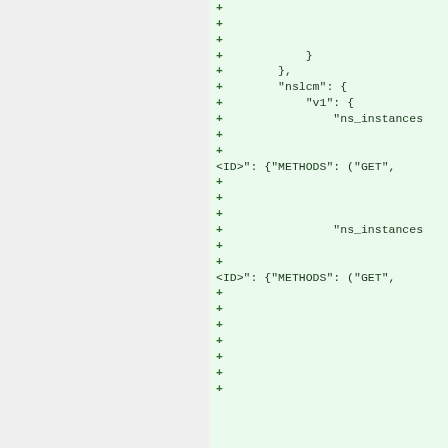[Figure (screenshot): Code diff view showing added lines (green background) with JSON/Python-like code snippet including keys 'nslcm', 'v1', 'ns_instances', '<ID>', 'METHODS', 'GET'. Left panel is gray (no content), right panel is green with plus-sign diff markers and code lines.]